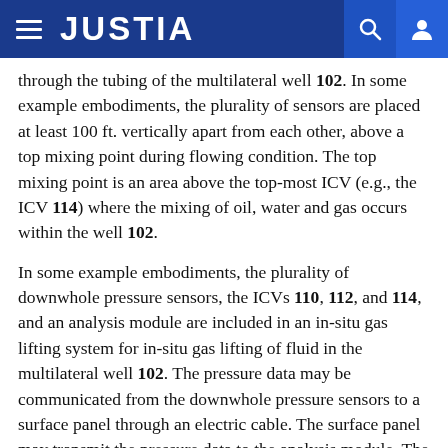JUSTIA
through the tubing of the multilateral well 102. In some example embodiments, the plurality of sensors are placed at least 100 ft. vertically apart from each other, above a top mixing point during flowing condition. The top mixing point is an area above the top-most ICV (e.g., the ICV 114) where the mixing of oil, water and gas occurs within the well 102.
In some example embodiments, the plurality of downwhole pressure sensors, the ICVs 110, 112, and 114, and an analysis module are included in an in-situ gas lifting system for in-situ gas lifting of fluid in the multilateral well 102. The pressure data may be communicated from the downwhole pressure sensors to a surface panel through an electric cable. The surface panel may transmit the pressure data to the analysis module. The analysis module determines whether